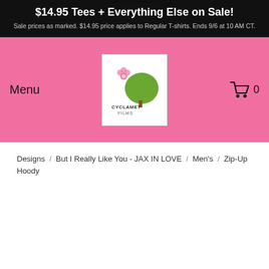$14.95 Tees + Everything Else on Sale! Sale prices as marked. $14.95 price applies to Regular T-shirts. Ends 9/6 at 10 AM CT.
[Figure (logo): Cyclamet Films logo with pink flower and green tree]
Menu
[Figure (other): Shopping cart icon with 0 count]
Designs / But I Really Like You - JAX IN LOVE / Men's / Zip-Up Hoody